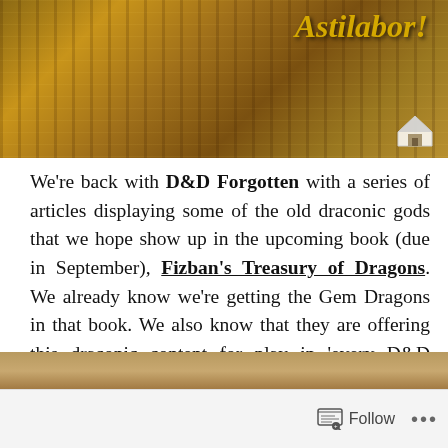[Figure (photo): Decorative fantasy image with stone/dragon sculpture and wooden background. Title text 'Astilabor!' in gold italic font at top right, small house logo at bottom right.]
We're back with D&D Forgotten with a series of articles displaying some of the old draconic gods that we hope show up in the upcoming book (due in September), Fizban's Treasury of Dragons. We already know we're getting the Gem Dragons in that book. We also know that they are offering this draconic content for play in 'every D&D world' which is going to happen whether they display it that way or not, but it's good to know they have the D&D Multiverse in mind.
[Figure (photo): Partial image strip visible at bottom of page, cut off.]
Follow ...